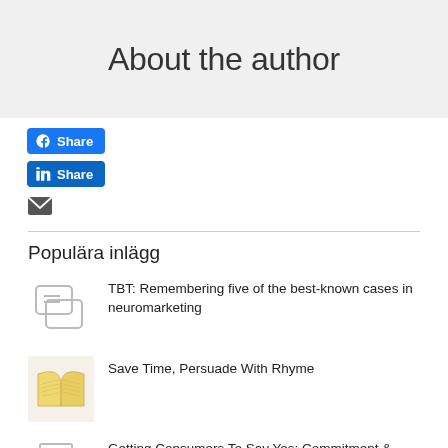About the author
[Figure (other): Facebook Share button, LinkedIn Share button, and email icon]
Populära inlägg
[Figure (illustration): Chat bubble icon thumbnail]
TBT: Remembering five of the best-known cases in neuromarketing
[Figure (photo): Open book thumbnail]
Save Time, Persuade With Rhyme
[Figure (illustration): Document icon thumbnail]
Getting Consumers To Say Yes: Commitment &